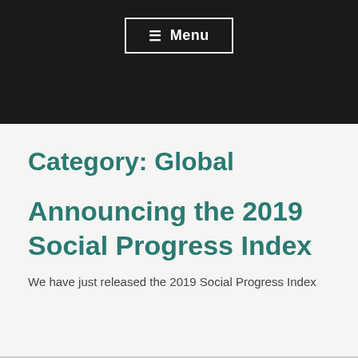☰ Menu
Category: Global
Announcing the 2019 Social Progress Index
We have just released the 2019 Social Progress Index